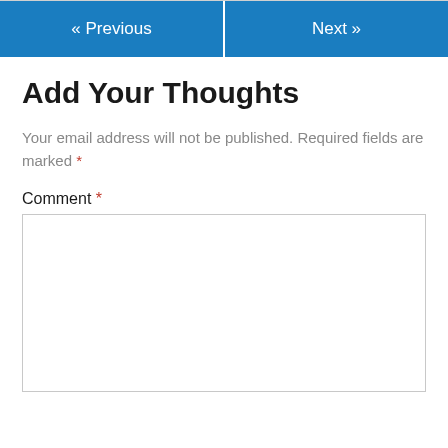« Previous | Next »
Add Your Thoughts
Your email address will not be published. Required fields are marked *
Comment *